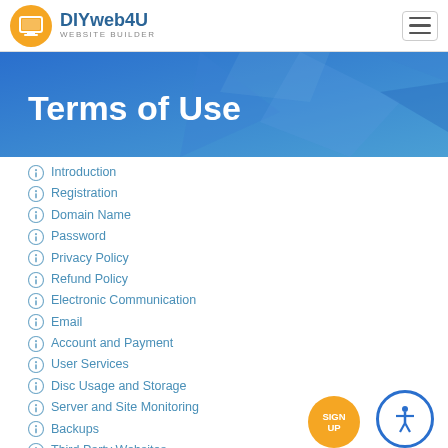DIYweb4U WEBSITE BUILDER
Terms of Use
Introduction
Registration
Domain Name
Password
Privacy Policy
Refund Policy
Electronic Communication
Email
Account and Payment
User Services
Disc Usage and Storage
Server and Site Monitoring
Backups
Third Party Websites